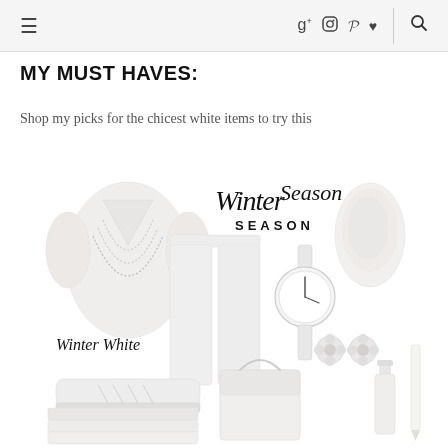≡  g+  [camera]  p  ♥  |  🔍
MY MUST HAVES:
Shop my picks for the chicest white items to try this
[Figure (photo): A fashion flat-lay collage of all-white winter items including a blouse with pearl necklaces, white skinny jeans, white sneakers/Converse, white folded sweaters, a white watch, a white scarf, pearl flower earrings, a white structured handbag, white nail polish, a white eyeliner pencil, with script text reading 'Winter Season SEASON' and 'Winter White']